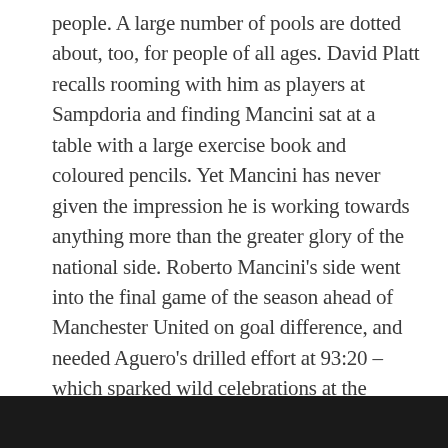people. A large number of pools are dotted about, too, for people of all ages. David Platt recalls rooming with him as players at Sampdoria and finding Mancini sat at a table with a large exercise book and coloured pencils. Yet Mancini has never given the impression he is working towards anything more than the greater glory of the national side. Roberto Mancini's side went into the final game of the season ahead of Manchester United on goal difference, and needed Aguero's drilled effort at 93:20 – which sparked wild celebrations at the Etihad Stadium – to confirm their status as England's best club that season. It was sealed in simply dramatic fashion, with the club's all-time record goalscorer Sergio Aguero netting in the fourth minute of added time to seal a a 3-2 win against QPR on the final day, which guaranteed them their first title in 44 years.
[Figure (photo): A dark/black image strip at the bottom of the page, appears to be a partial photo with very dark tones]